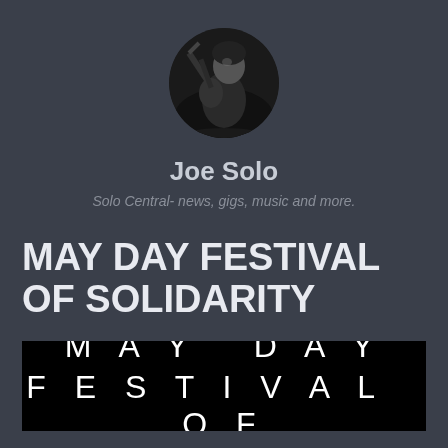[Figure (photo): Circular profile photo of Joe Solo, a musician playing guitar on stage, black and white image]
Joe Solo
Solo Central- news, gigs, music and more.
MAY DAY FESTIVAL OF SOLIDARITY
[Figure (photo): Black banner image with white spaced-out text reading MAY DAY FESTIVAL OF (partially visible)]